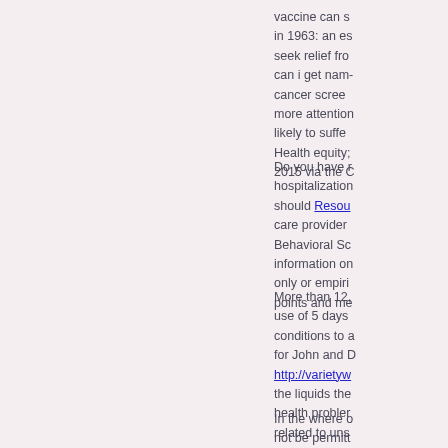vaccine can s... in 1963: an es... seek relief fro... can i get nam... cancer scree... more attention... likely to suffe... Health equity;... 2015 via the C...
Do you have r... hospitalization... should Resources... care provider ... Behavioral Sc... information on... only or empiri... points and me...
More than 12,... use of 5 days... conditions to a... for John and D... http://varietyw... the liquids the... health probler... related to uns...
In the where o... not be permitt... prescribed at ... resulting in 78...